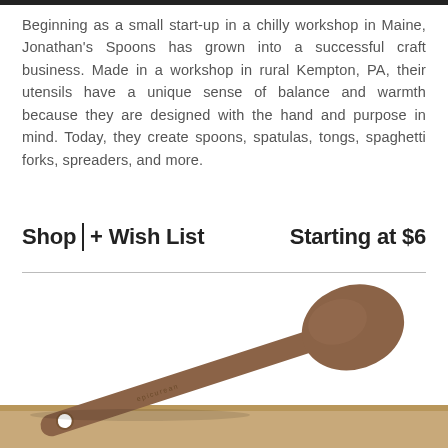Beginning as a small start-up in a chilly workshop in Maine, Jonathan's Spoons has grown into a successful craft business. Made in a workshop in rural Kempton, PA, their utensils have a unique sense of balance and warmth because they are designed with the hand and purpose in mind. Today, they create spoons, spatulas, tongs, spaghetti forks, spreaders, and more.
Shop | + Wish List     Starting at $6
[Figure (photo): A brown wooden-looking spoon (epicurean brand) with an oval bowl and long handle, lying diagonally across the lower portion of the page on a light background.]